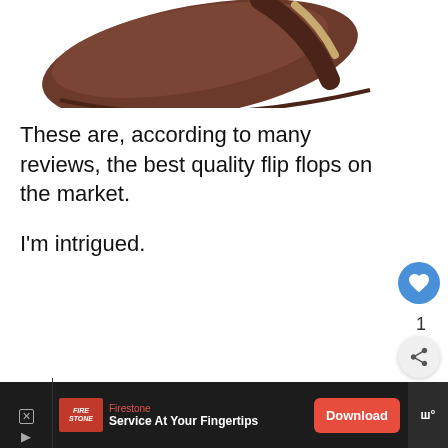[Figure (photo): Bottom portion of a brown leather flip-flop sandal with gold strap, shown against a white background]
These are, according to many reviews, the best quality flip flops on the market.
I'm intrigued.
[Figure (infographic): Advertisement banner: It's time to talk about Alzheimer's. LEARN MORE button. Alzheimer's Association logo with X close button.]
[Figure (infographic): Bottom advertisement bar: Firestone - Service At Your Fingertips - Download button. WW icon on right. X and play controls on left.]